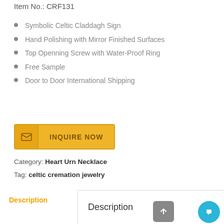Item No.: CRF131
Symbolic Celtic Claddagh Sign
Hand Polishing with Mirror Finished Surfaces
Top Openning Screw with Water-Proof Ring
Free Sample
Door to Door International Shipping
[Figure (other): Yellow INQUIRE NOW button with envelope icon]
Category: Heart Urn Necklace
Tag: celtic cremation jewelry
Description
Description